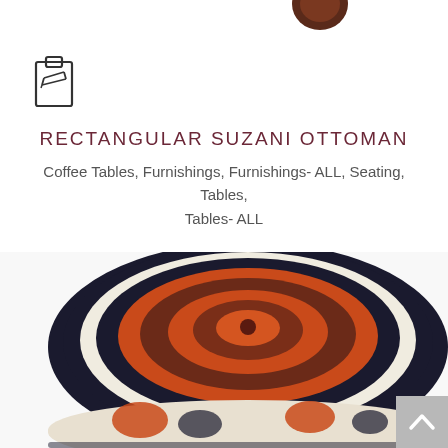[Figure (photo): Partial view of a round decorative item (top of an ottoman or similar product) cropped at the top edge of the page]
[Figure (illustration): Edit/pencil clipboard icon in outline style]
RECTANGULAR SUZANI OTTOMAN
Coffee Tables, Furnishings, Furnishings- ALL, Seating, Tables, Tables- ALL
[Figure (photo): Round Suzani ottoman with dark navy/black and cream fabric featuring bold orange-red and brown floral embroidery pattern with a circular medallion on top]
[Figure (illustration): Scroll-to-top chevron arrow button in grey box at bottom right corner]